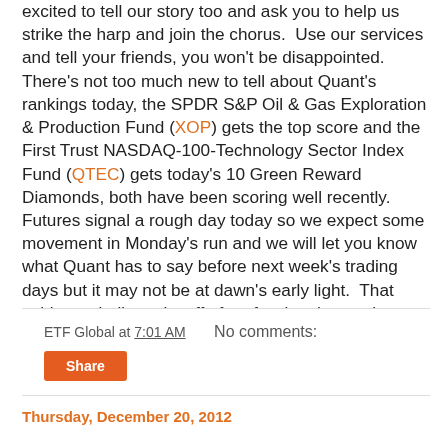excited to tell our story too and ask you to help us strike the harp and join the chorus.  Use our services and tell your friends, you won't be disappointed.  There's not too much new to tell about Quant's rankings today, the SPDR S&P Oil & Gas Exploration & Production Fund (XOP) gets the top score and the First Trust NASDAQ-100-Technology Sector Index Fund (QTEC) gets today's 10 Green Reward Diamonds, both have been scoring well recently.  Futures signal a rough day today so we expect some movement in Monday's run and we will let you know what Quant has to say before next week's trading days but it may not be at dawn's early light.  That said, our dedicated staff of professionals stands ready to assist you and we all wish you a Merry Christmas and a Happy New Year!
ETF Global at 7:01 AM   No comments:
Share
Thursday, December 20, 2012